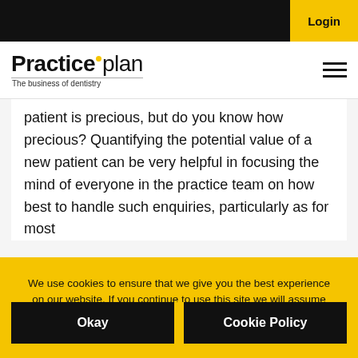Login
[Figure (logo): Practiceplan logo with tagline 'The business of dentistry']
patient is precious, but do you know how precious? Quantifying the potential value of a new patient can be very helpful in focusing the mind of everyone in the practice team on how best to handle such enquiries, particularly as for most
We use cookies to ensure that we give you the best experience on our website. If you continue to use this site we will assume that you are happy with it. You can find out more by reading our cookie policy.
Okay
Cookie Policy